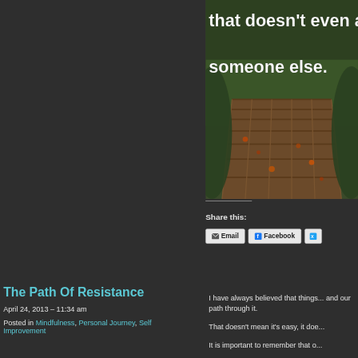[Figure (photo): Photo of a wooden bridge/path through autumn forest with text overlay reading 'that doesn't even app... someone else.']
Share this:
Email | Facebook | (Twitter/X)
The Path Of Resistance
April 24, 2013 – 11:34 am
Posted in Mindfulness, Personal Journey, Self Improvement
I have always believed that things... and our path through it.
That doesn't mean it's easy, it doe...
It is important to remember that o...